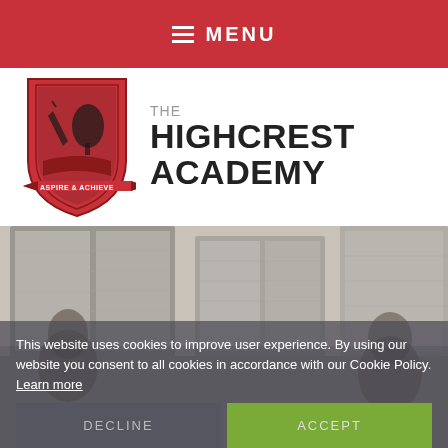MENU
[Figure (logo): The Highcrest Academy shield logo with 'ASPIRE & ACHIEVE' banner, red shield with tree and pen imagery]
THE HIGHCREST ACADEMY
[Figure (photo): Two people (students or staff) in front of large windows with a building exterior, semi-transparent overlay]
This website uses cookies to improve user experience. By using our website you consent to all cookies in accordance with our Cookie Policy. Learn more
DECLINE
ACCEPT